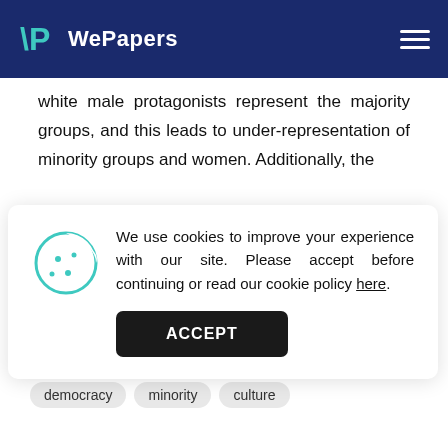WePapers
white male protagonists represent the majority groups, and this leads to under-representation of minority groups and women. Additionally, the
[Figure (screenshot): Cookie consent modal dialog with cookie icon, text about cookie policy, and an ACCEPT button]
reading...
women
cinema
media
film
television
democracy
minority
culture